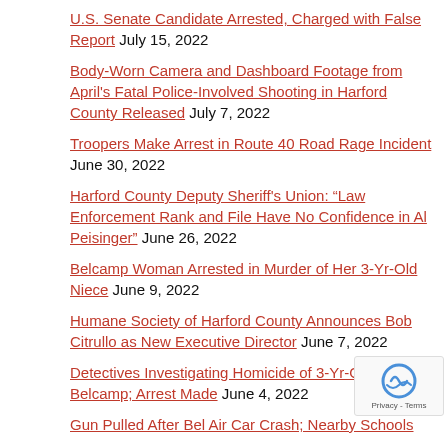U.S. Senate Candidate Arrested, Charged with False Report July 15, 2022
Body-Worn Camera and Dashboard Footage from April's Fatal Police-Involved Shooting in Harford County Released July 7, 2022
Troopers Make Arrest in Route 40 Road Rage Incident June 30, 2022
Harford County Deputy Sheriff's Union: “Law Enforcement Rank and File Have No Confidence in Al Peisinger” June 26, 2022
Belcamp Woman Arrested in Murder of Her 3-Yr-Old Niece June 9, 2022
Humane Society of Harford County Announces Bob Citrullo as New Executive Director June 7, 2022
Detectives Investigating Homicide of 3-Yr-Old Girl in Belcamp; Arrest Made June 4, 2022
Gun Pulled After Bel Air Car Crash; Nearby Schools